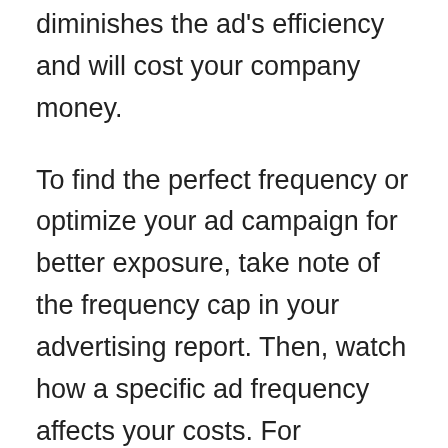diminishes the ad's efficiency and will cost your company money.
To find the perfect frequency or optimize your ad campaign for better exposure, take note of the frequency cap in your advertising report. Then, watch how a specific ad frequency affects your costs. For instance, if you've set the frequency to 1.7, add a new target audience and duplicate your ads if the cost per result significantly increases. Doing so will reset your campaign as it'll refresh the